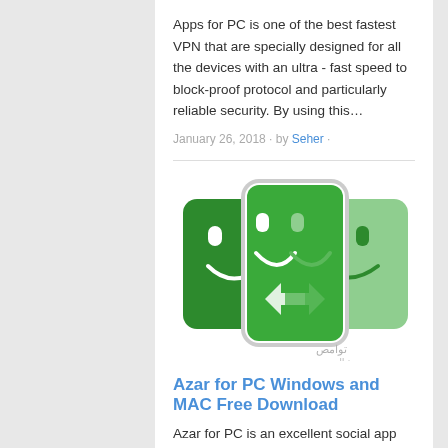Apps for PC is one of the best fastest VPN that are specially designed for all the devices with an ultra - fast speed to block-proof protocol and particularly reliable security. By using this…
January 26, 2018 · by Seher ·
[Figure (illustration): App icon showing three green smiley face squares/phones with a swap/transfer arrow, Azar app logo style, with Arabic watermark text in bottom right corner]
Azar for PC Windows and MAC Free Download
Azar for PC is an excellent social app that lets you to get interact with people via video calls where